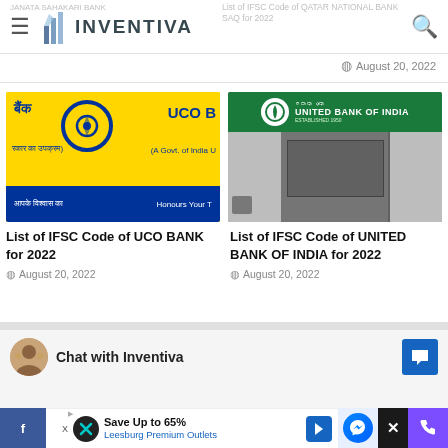Inventiva
JANATA SAHAKARI BANK
List of IFSC Code of QATAR NATIONAL BANK SAQ for 2022
August 20, 2022
[Figure (photo): UCO Bank yellow sign with bank logo and text in Hindi and English]
List of IFSC Code of UCO BANK for 2022
August 20, 2022
[Figure (photo): United Bank of India branch building exterior with green signage]
List of IFSC Code of UNITED BANK OF INDIA for 2022
August 20, 2022
Chat with Inventiva
Save Up to 65% Leesburg Premium Outlets